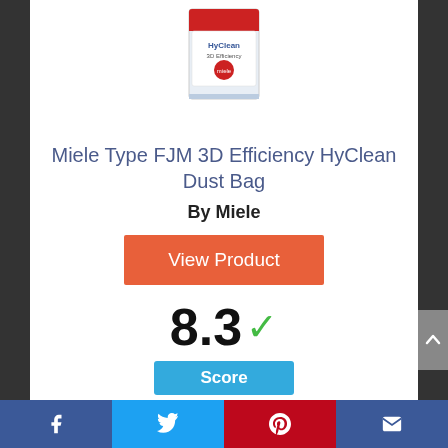[Figure (photo): Product image of Miele HyClean dust bag box, white and red packaging]
Miele Type FJM 3D Efficiency HyClean Dust Bag
By Miele
View Product
8.3 ✓
Score
Facebook | Twitter | Pinterest | Email